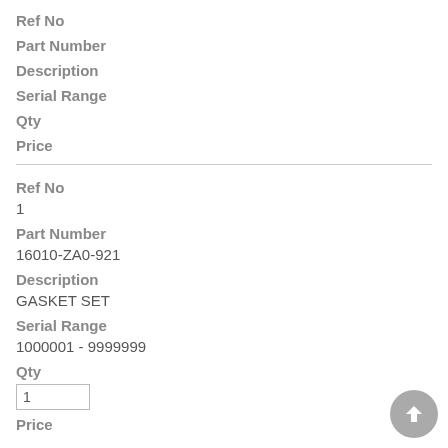Ref No
Part Number
Description
Serial Range
Qty
Price
Ref No
1
Part Number
16010-ZA0-921
Description
GASKET SET
Serial Range
1000001 - 9999999
Qty
1
Price